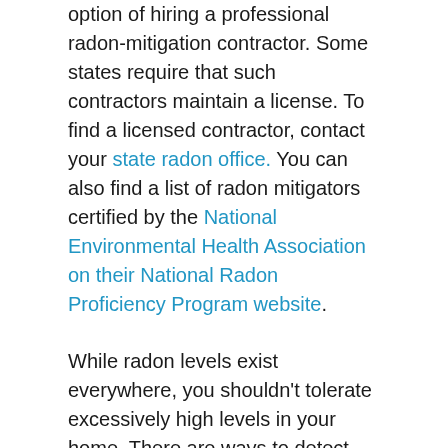option of hiring a professional radon-mitigation contractor. Some states require that such contractors maintain a license. To find a licensed contractor, contact your state radon office. You can also find a list of radon mitigators certified by the National Environmental Health Association on their National Radon Proficiency Program website.
While radon levels exist everywhere, you shouldn't tolerate excessively high levels in your home. There are ways to detect and treat radon on your home, so there's no need to fear the harmful effects of this gas.
How can I reduce the risks of radon?